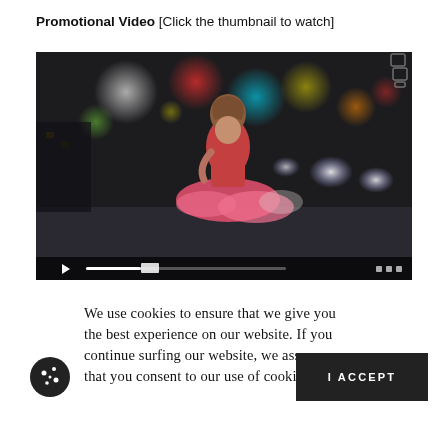Promotional Video [Click the thumbnail to watch]
[Figure (screenshot): Video thumbnail showing a woman in a red dress standing on a city street at night with bokeh city lights in the background. Video player controls visible at bottom.]
We use cookies to ensure that we give you the best experience on our website. If you continue surfing our website, we assume that you consent to our use of cookies.